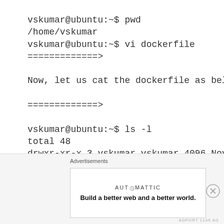vskumar@ubuntu:~$ pwd
/home/vskumar
vskumar@ubuntu:~$ vi dockerfile
=============>

Now, let us cat the dockerfile as below:

=============>

vskumar@ubuntu:~$ ls -l
total 48
drwxr-xr-x 3 vskumar vskumar 4096 Nov 24 23:32 Desktop
-rw-rw-r– 1 vskumar vskumar 86 Dec 3 04:29 dockerfile
Advertisements
[Figure (other): Automattic advertisement banner: 'Build a better web and a better world.']